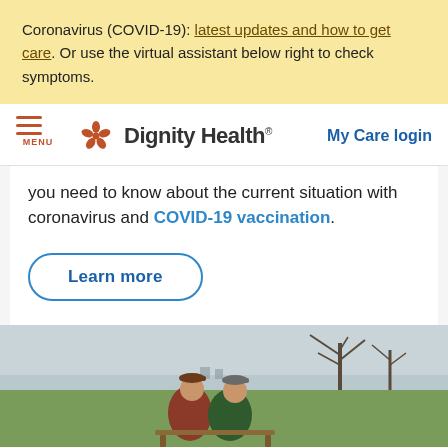Coronavirus (COVID-19): latest updates and how to get care. Or use the virtual assistant below right to check symptoms.
MENU | Dignity Health | My Care login
you need to know about the current situation with coronavirus and COVID-19 vaccination.
Learn more
[Figure (photo): Two elderly men sitting together outdoors in a park with bare trees and water in the background. One wears a red-brown jacket and cap, the other a green jacket and grey cap.]